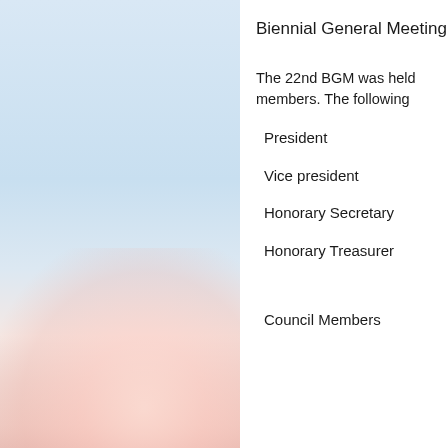Biennial General Meeting
The 22nd BGM was held... members. The following
President
Vice president
Honorary Secretary
Honorary Treasurer
Council Members